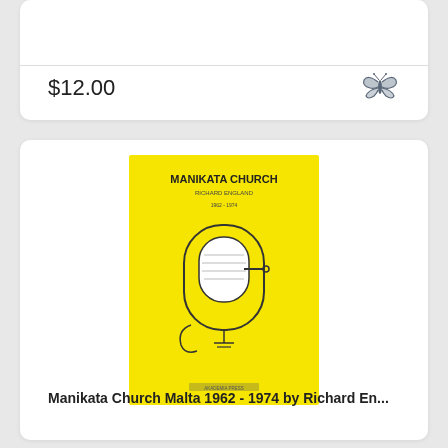$12.00
[Figure (illustration): Butterfly icon in dark gray/slate color]
[Figure (photo): Book cover of 'Manikata Church Malta 1962-1974 by Richard England' — bright yellow cover with a line drawing of a microphone-like architectural sketch]
Manikata Church Malta 1962 - 1974 by Richard En...